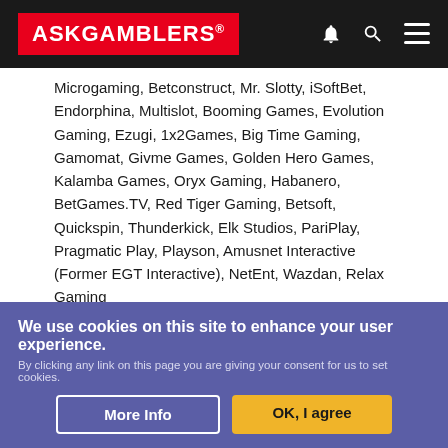ASKGAMBLERS
Microgaming, Betconstruct, Mr. Slotty, iSoftBet, Endorphina, Multislot, Booming Games, Evolution Gaming, Ezugi, 1x2Games, Big Time Gaming, Gamomat, Givme Games, Golden Hero Games, Kalamba Games, Oryx Gaming, Habanero, BetGames.TV, Red Tiger Gaming, Betsoft, Quickspin, Thunderkick, Elk Studios, PariPlay, Pragmatic Play, Playson, Amusnet Interactive (Former EGT Interactive), NetEnt, Wazdan, Relax Gaming
Deposit Methods
Trustly, Visa, MasterCard, Interac, Sofort, Paysafe Card, Skrill, eZeeWallet, Flexepin, CashtoCode, ecoVoucher, Neteller, EcoPayz, MuchBetter, Jeton
Withdrawal Methods
We use cookies on this site to enhance your user experience. By clicking any link on this page you are giving your consent for us to set cookies.